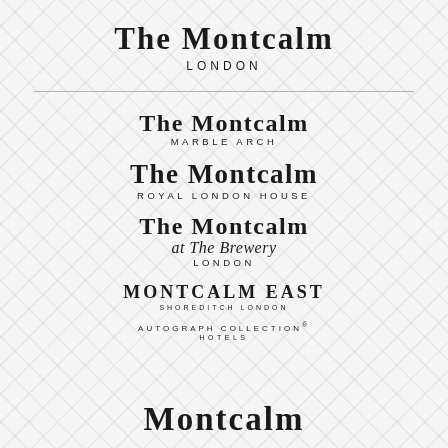THE MONTCALM LONDON
THE MONTCALM MARBLE ARCH
THE MONTCALM ROYAL LONDON HOUSE
THE MONTCALM at The Brewery LONDON
MONTCALM EAST SHOREDITCH LONDON
AUTOGRAPH COLLECTION HOTELS
MONTCALM